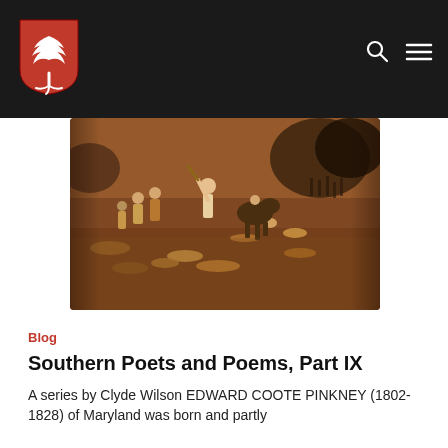[Figure (logo): University shield logo: red shield with white palmetto tree and roots, on dark navy/black navigation bar]
[Figure (photo): Historical battle painting showing soldiers and fighters in close combat, in warm reddish-brown tones]
Blog
Southern Poets and Poems, Part IX
A series by Clyde Wilson EDWARD COOTE PINKNEY (1802-1828) of Maryland was born and partly